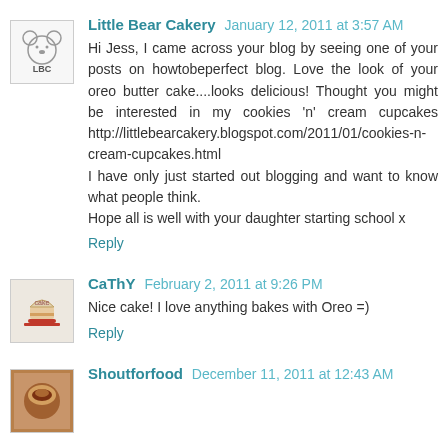[Figure (photo): Avatar for Little Bear Cakery - small bear logo with LBC text]
Little Bear Cakery January 12, 2011 at 3:57 AM
Hi Jess, I came across your blog by seeing one of your posts on howtobeperfect blog. Love the look of your oreo butter cake....looks delicious! Thought you might be interested in my cookies 'n' cream cupcakes http://littlebearcakery.blogspot.com/2011/01/cookies-n-cream-cupcakes.html
I have only just started out blogging and want to know what people think.
Hope all is well with your daughter starting school x
Reply
[Figure (photo): Avatar for CaThY - small cake/food image]
CaThY February 2, 2011 at 9:26 PM
Nice cake! I love anything bakes with Oreo =)
Reply
[Figure (photo): Avatar for Shoutforfood - coffee/food image]
Shoutforfood December 11, 2011 at 12:43 AM